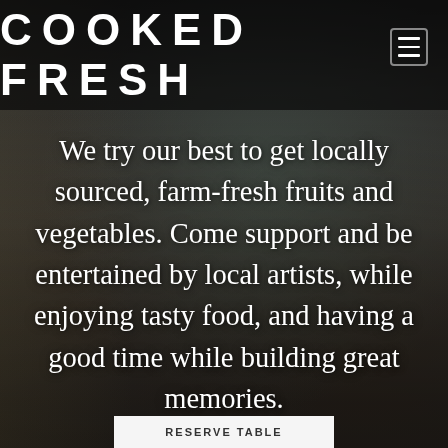[Figure (photo): Restaurant interior background showing dining area with chairs, bar stools, windows, and ambient lighting, dark-toned]
COOKED  FRESH
We try our best to get locally sourced, farm-fresh fruits and vegetables. Come support and be entertained by local artists, while enjoying tasty food, and having a good time while building great memories.
RESERVE TABLE